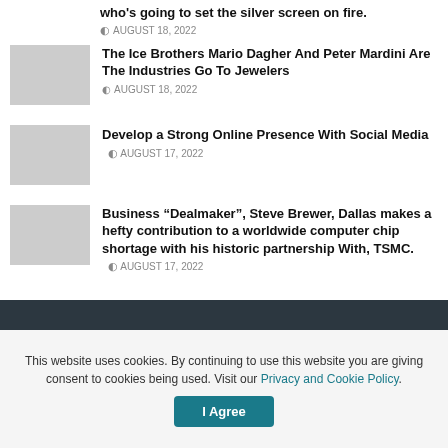who's going to set the silver screen on fire.
AUGUST 18, 2022
The Ice Brothers Mario Dagher And Peter Mardini Are The Industries Go To Jewelers
AUGUST 18, 2022
Develop a Strong Online Presence With Social Media
AUGUST 17, 2022
Business “Dealmaker”, Steve Brewer, Dallas makes a hefty contribution to a worldwide computer chip shortage with his historic partnership With, TSMC.
AUGUST 17, 2022
This website uses cookies. By continuing to use this website you are giving consent to cookies being used. Visit our Privacy and Cookie Policy.